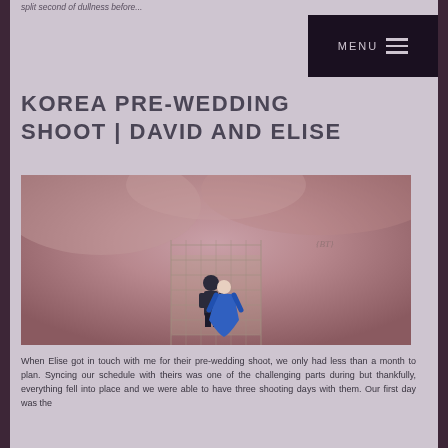split second of dullness before...
MENU
KOREA PRE-WEDDING SHOOT | DAVID AND ELISE
[Figure (photo): Aerial/overhead shot of a couple on a rope bridge surrounded by pink fluffy grass/flowers. The woman is wearing a blue gown and the man a dark suit. A watermark '{BT}' is visible in the upper right of the image.]
When Elise got in touch with me for their pre-wedding shoot, we only had less than a month to plan. Syncing our schedule with theirs was one of the challenging parts during but thankfully, everything fell into place and we were able to have three shooting days with them. Our first day was the